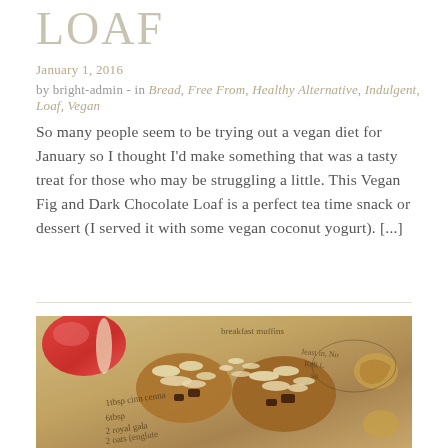LOAF
January 1, 2016
by bright-admin - in Bread, Free From, Healthy Alternative, Indulgent, Loaf, Vegan
So many people seem to be trying out a vegan diet for January so I thought I’d make something that was a tasty treat for those who may be struggling a little. This Vegan Fig and Dark Chocolate Loaf is a perfect tea time snack or dessert (I served it with some vegan coconut yogurt). [...]
[Figure (photo): Food photograph showing baked oat and nut clusters with chocolate pieces on brown paper with handwritten recipe notes, and a red apple slice in the upper left corner]